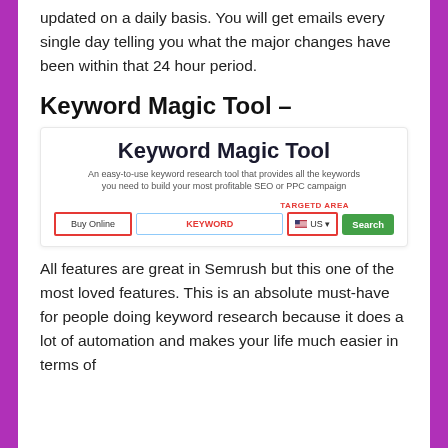updated on a daily basis. You will get emails every single day telling you what the major changes have been within that 24 hour period.
Keyword Magic Tool –
[Figure (screenshot): Screenshot of the Keyword Magic Tool interface showing the tool title, description 'An easy-to-use keyword research tool that provides all the keywords you need to build your most profitable SEO or PPC campaign', a search bar with 'Buy Online' highlighted in red, a KEYWORD field in red, a US country selector with flag, and a green Search button. A 'TARGETD AREA' label appears above the country selector.]
All features are great in Semrush but this one of the most loved features. This is an absolute must-have for people doing keyword research because it does a lot of automation and makes your life much easier in terms of